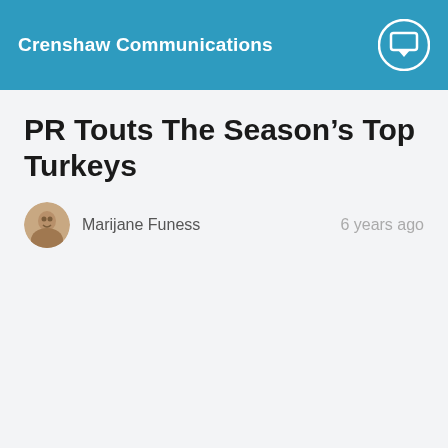Crenshaw Communications
PR Touts The Season’s Top Turkeys
Marijane Funess   6 years ago